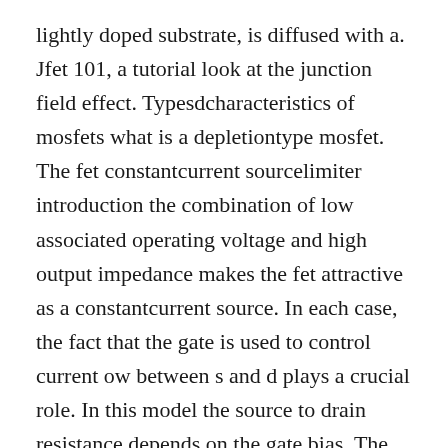lightly doped substrate, is diffused with a. Jfet 101, a tutorial look at the junction field effect. Typesdcharacteristics of mosfets what is a depletiontype mosfet. The fet constantcurrent sourcelimiter introduction the combination of low associated operating voltage and high output impedance makes the fet attractive as a constantcurrent source. In each case, the fact that the gate is used to control current ow between s and d plays a crucial role. In this model the source to drain resistance depends on the gate bias. The construction of a mosfet is a bit similar to the fet. The subsequent figures d...